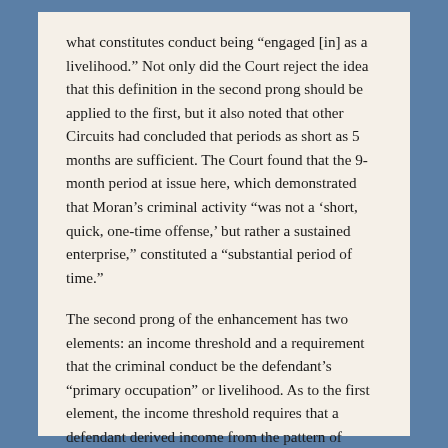what constitutes conduct being “engaged [in] as a livelihood.” Not only did the Court reject the idea that this definition in the second prong should be applied to the first, but it also noted that other Circuits had concluded that periods as short as 5 months are sufficient. The Court found that the 9-month period at issue here, which demonstrated that Moran’s criminal activity “was not a ‘short, quick, one-time offense,’ but rather a sustained enterprise,” constituted a “substantial period of time.”
The second prong of the enhancement has two elements: an income threshold and a requirement that the criminal conduct be the defendant’s “primary occupation” or livelihood. As to the first element, the income threshold requires that a defendant derived income from the pattern of criminal conduct that in any 12-month period exceeded 2,000 times the then-existing hourly minimum wage under federal law, in